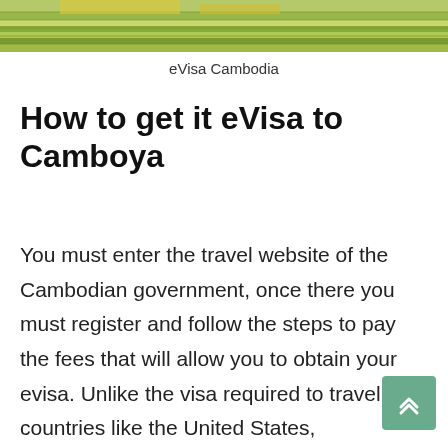[Figure (photo): Green terraced rice fields / agricultural landscape hero image at top of page]
eVisa Cambodia
How to get it eVisa to Camboya
You must enter the travel website of the Cambodian government, once there you must register and follow the steps to pay the fees that will allow you to obtain your evisa. Unlike the visa required to travel to countries like the United States, Cambodian evisa does not require much